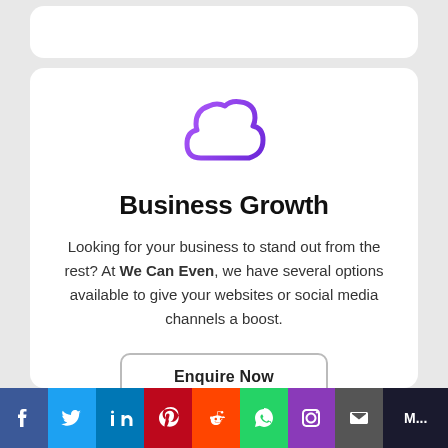[Figure (illustration): Purple cloud icon outline graphic]
Business Growth
Looking for your business to stand out from the rest? At We Can Even, we have several options available to give your websites or social media channels a boost.
Enquire Now
[Figure (infographic): Social media share bar with icons: Facebook, Twitter, LinkedIn, Pinterest, Reddit, WhatsApp, Instagram, Email, and more (M...)]